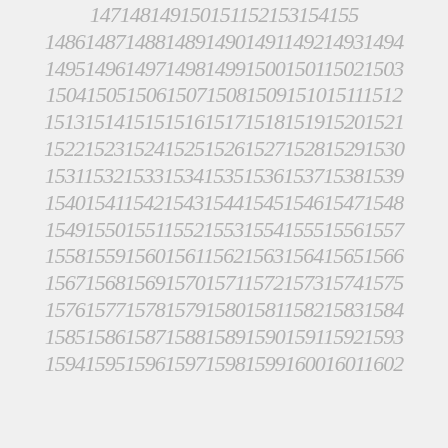147148149150151152153154155156157158159160161162163164165166167168169170171172173174175176177178179180181182183184185186187188189190191192193194195196197198199200201502503504505506507508509510511512513514515516517518519520521522523524525526527528529530531532533534535536537538539540541542543544545546547548549550551552553554555556557558559560561562563564565566567568569570571572573574575576577578579580581582583584585586587588589590591592593594595596597598599600601602
Numbers 147 through 1602 displayed sequentially